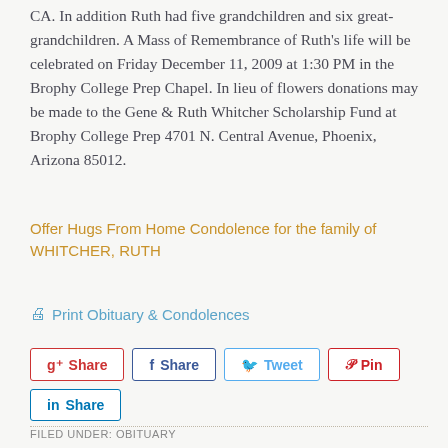CA. In addition Ruth had five grandchildren and six great-grandchildren. A Mass of Remembrance of Ruth's life will be celebrated on Friday December 11, 2009 at 1:30 PM in the Brophy College Prep Chapel. In lieu of flowers donations may be made to the Gene & Ruth Whitcher Scholarship Fund at Brophy College Prep 4701 N. Central Avenue, Phoenix, Arizona 85012.
Offer Hugs From Home Condolence for the family of WHITCHER, RUTH
Print Obituary & Condolences
Share | Share | Tweet | Pin | Share
FILED UNDER: OBITUARY